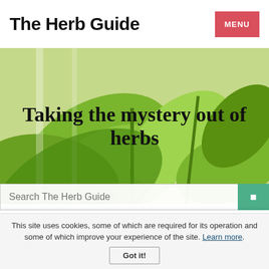The Herb Guide | MENU
[Figure (photo): Hero image of green herbs (basil and oregano) against a white background with text overlay 'Taking the mystery out of herbs']
Taking the mystery out of herbs
Search The Herb Guide
The Herb Guide Home  >A-Z Herbs  >Growing Dill
0
This site uses cookies, some of which are required for its operation and some of which improve your experience of the site. Learn more.
Got it!